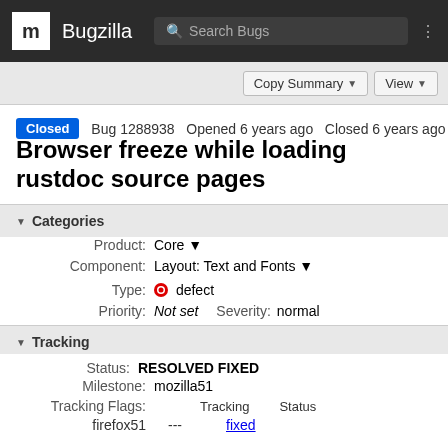m Bugzilla Search Bugs
Copy Summary ▾   View ▾
Closed  Bug 1288938  Opened 6 years ago  Closed 6 years ago
Browser freeze while loading rustdoc source pages
▾ Categories
Product: Core ▾
Component: Layout: Text and Fonts ▾
Type: defect
Priority: Not set   Severity: normal
▾ Tracking
Status: RESOLVED FIXED
Milestone: mozilla51
Tracking Flags:   Tracking  Status
  firefox51  ---  fixed